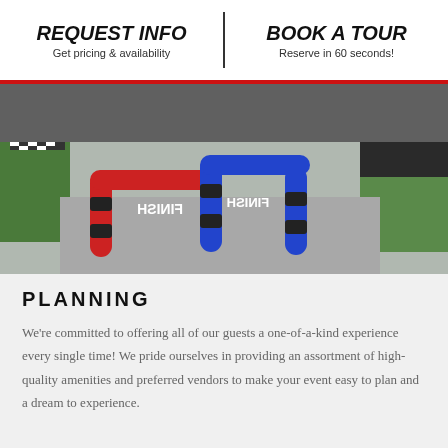REQUEST INFO | Get pricing & availability | BOOK A TOUR | Reserve in 60 seconds!
[Figure (photo): Indoor sports/event venue with inflatable finish line arches in red, blue colors with black and white striped poles, green turf visible, grey floor.]
PLANNING
We're committed to offering all of our guests a one-of-a-kind experience every single time! We pride ourselves in providing an assortment of high-quality amenities and preferred vendors to make your event easy to plan and a dream to experience.